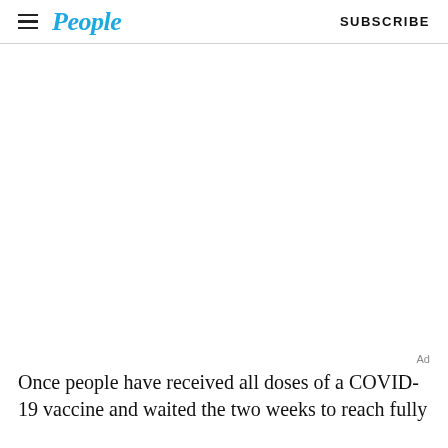People  SUBSCRIBE
[Figure (photo): Large white/blank image area (advertisement or photo placeholder)]
Ad
Once people have received all doses of a COVID-19 vaccine and waited the two weeks to reach fully